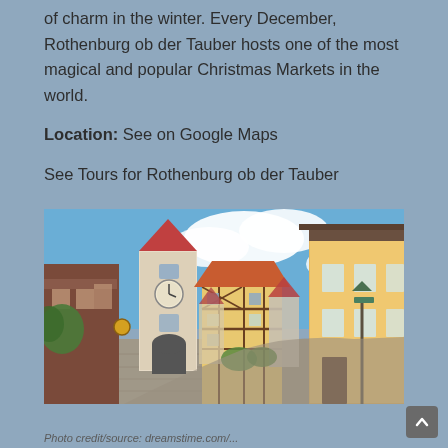of charm in the winter. Every December, Rothenburg ob der Tauber hosts one of the most magical and popular Christmas Markets in the world.
Location: See on Google Maps
See Tours for Rothenburg ob der Tauber
[Figure (photo): Street view of Rothenburg ob der Tauber showing historic half-timbered buildings, a clock tower gate, cobblestone street, and blue sky with white clouds.]
Photo credit/source: dreamstime.com/...